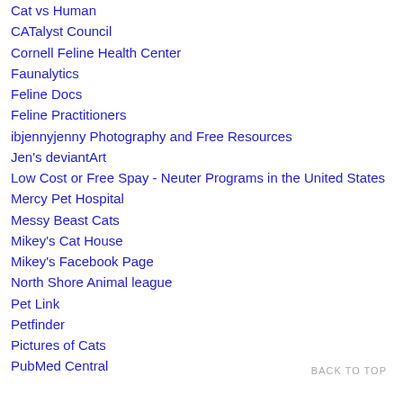Cat vs Human
CATalyst Council
Cornell Feline Health Center
Faunalytics
Feline Docs
Feline Practitioners
ibjennyjenny Photography and Free Resources
Jen's deviantArt
Low Cost or Free Spay - Neuter Programs in the United States
Mercy Pet Hospital
Messy Beast Cats
Mikey's Cat House
Mikey's Facebook Page
North Shore Animal league
Pet Link
Petfinder
Pictures of Cats
PubMed Central
BACK TO TOP